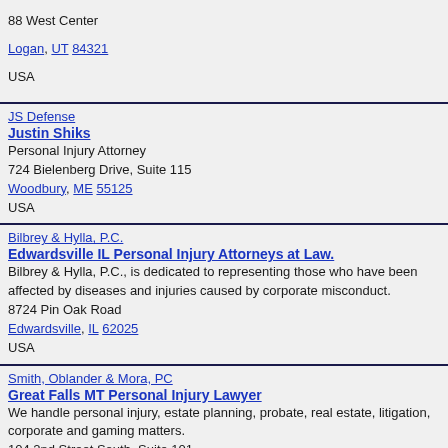88 West Center
Logan, UT 84321
USA
JS Defense
Justin Shiks
Personal Injury Attorney
724 Bielenberg Drive, Suite 115
Woodbury, ME 55125
USA
Bilbrey & Hylla, P.C.
Edwardsville IL Personal Injury Attorneys at Law.
Bilbrey & Hylla, P.C., is dedicated to representing those who have been affected by diseases and injuries caused by corporate misconduct.
8724 Pin Oak Road
Edwardsville, IL 62025
USA
Smith, Oblander & Mora, PC
Great Falls MT Personal Injury Lawyer
We handle personal injury, estate planning, probate, real estate, litigation, corporate and gaming matters.
104 2nd Street South, Suite 101
Great Falls, MT 59405
USA
Law Office of Eugene A. DiMariano
Seacoast New Hampshire claimant personal injury workers comp, &